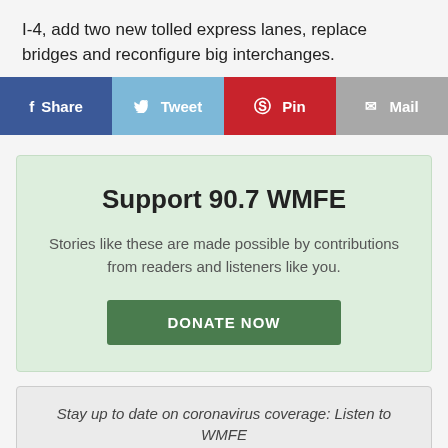I-4, add two new tolled express lanes, replace bridges and reconfigure big interchanges.
[Figure (infographic): Social share bar with Facebook Share, Tweet, Pin, and Mail buttons]
Support 90.7 WMFE
Stories like these are made possible by contributions from readers and listeners like you.
DONATE NOW
Stay up to date on coronavirus coverage: Listen to WMFE